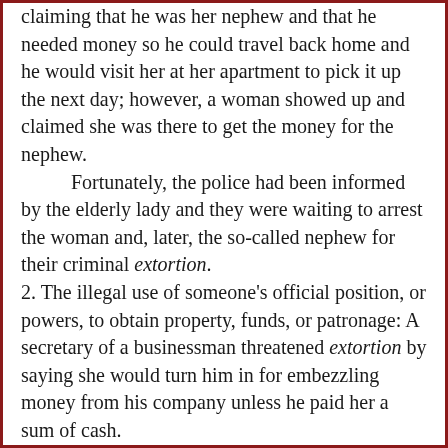claiming that he was her nephew and that he needed money so he could travel back home and he would visit her at her apartment to pick it up the next day; however, a woman showed up and claimed she was there to get the money for the nephew.
Fortunately, the police had been informed by the elderly lady and they were waiting to arrest the woman and, later, the so-called nephew for their criminal extortion.
2. The illegal use of someone's official position, or powers, to obtain property, funds, or patronage: A secretary of a businessman threatened extortion by saying she would turn him in for embezzling money from his company unless he paid her a sum of cash.
3. Etymology: from Latin extorquere, "to wrench out, to wrest away"; from ex-, "out"